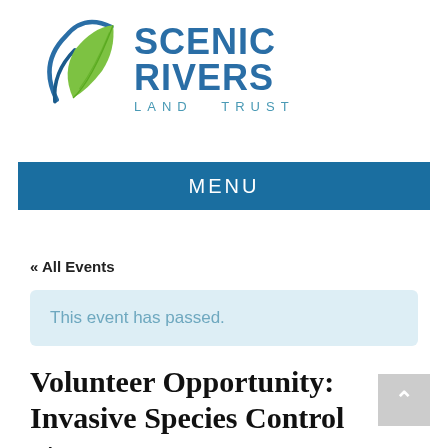[Figure (logo): Scenic Rivers Land Trust logo — green leaf with blue swoosh icon, bold blue 'SCENIC RIVERS' text, lighter blue 'LAND TRUST' in spaced caps below]
MENU
« All Events
This event has passed.
Volunteer Opportunity: Invasive Species Control at